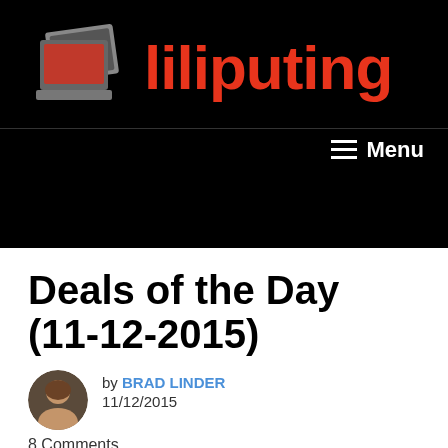[Figure (logo): Liliputing website logo: laptop icon graphic on left, red stylized 'liliputing' text on right, on black background]
≡ Menu
Deals of the Day (11-12-2015)
by BRAD LINDER
11/12/2015
8 Comments
Disclosure: Some links on this page are monetized by the Skimlinks, Amazon, Rakuten Advertising, and eBay, affiliate programs. All prices are subject to change, and this article only reflects the prices available at time of publication.